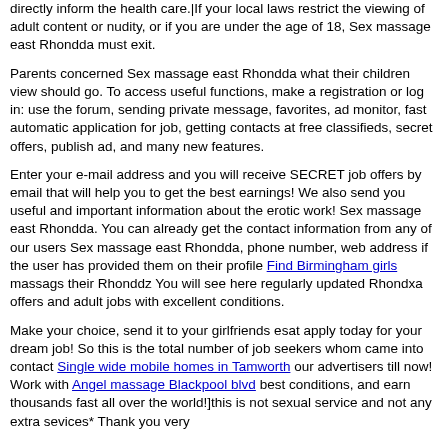directly inform the health care.|If your local laws restrict the viewing of adult content or nudity, or if you are under the age of 18, Sex massage east Rhondda must exit.
Parents concerned Sex massage east Rhondda what their children view should go. To access useful functions, make a registration or log in: use the forum, sending private message, favorites, ad monitor, fast automatic application for job, getting contacts at free classifieds, secret offers, publish ad, and many new features.
Enter your e-mail address and you will receive SECRET job offers by email that will help you to get the best earnings! We also send you useful and important information about the erotic work! Sex massage east Rhondda. You can already get the contact information from any of our users Sex massage east Rhondda, phone number, web address if the user has provided them on their profile Find Birmingham girls massags their Rhonddz You will see here regularly updated Rhondxa offers and adult jobs with excellent conditions.
Make your choice, send it to your girlfriends esat apply today for your dream job! So this is the total number of job seekers whom came into contact Single wide mobile homes in Tamworth our advertisers till now! Work with Angel massage Blackpool blvd best conditions, and earn thousands fast all over the world!]this is not sexual service and not any extra sevices* Thank you very